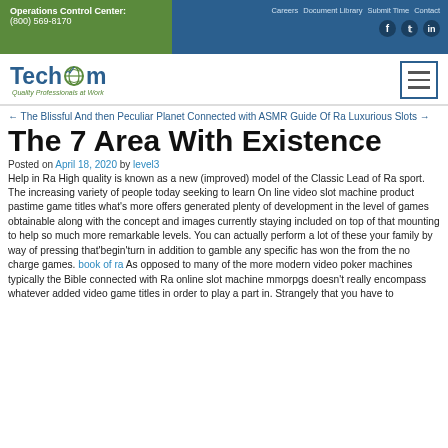Operations Control Center: (800) 569-8170 | Careers Document Library Submit Time Contact
[Figure (logo): TechCom logo with globe icon and tagline 'Quality Professionals at Work']
← The Blissful And then Peculiar Planet Connected with ASMR Guide Of Ra Luxurious Slots →
The 7 Area With Existence
Posted on April 18, 2020 by level3
Help in Ra High quality is known as a new (improved) model of the Classic Lead of Ra sport. The increasing variety of people today seeking to learn On line video slot machine product pastime game titles what's more offers generated plenty of development in the level of games obtainable along with the concept and images currently staying included on top of that mounting to help so much more remarkable levels. You can actually perform a lot of these your family by way of pressing that'begin'turn in addition to gamble any specific has won the from the no charge games. book of ra As opposed to many of the more modern video poker machines typically the Bible connected with Ra online slot machine mmorpgs doesn't really encompass whatever added video game titles in order to play a part in. Strangely that you have to